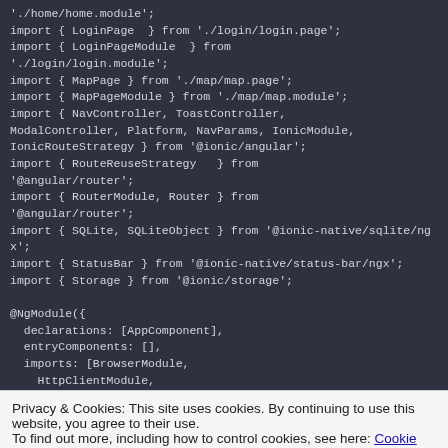[Figure (screenshot): Code block showing TypeScript/Angular import statements and @NgModule decorator configuration on a dark background]
Privacy & Cookies: This site uses cookies. By continuing to use this website, you agree to their use.
To find out more, including how to control cookies, see here: Cookie Policy
[Figure (screenshot): Bottom code block showing HomePage, LoginPage on dark background]